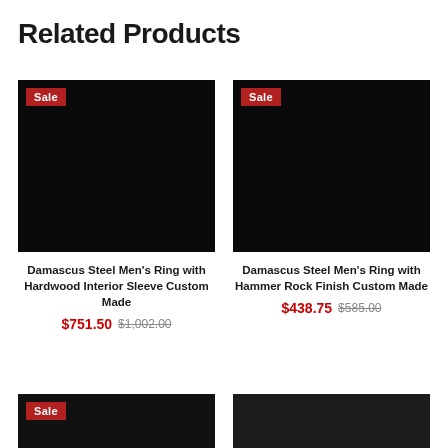Related Products
[Figure (photo): Black product image for Damascus Steel Men's Ring with Hardwood Interior Sleeve Custom Made, with red Sale badge in top-left corner]
Damascus Steel Men's Ring with Hardwood Interior Sleeve Custom Made
$751.50  $1,002.00
[Figure (photo): Black product image for Damascus Steel Men's Ring with Hammer Rock Finish Custom Made, with red Sale badge in top-left corner]
Damascus Steel Men's Ring with Hammer Rock Finish Custom Made
$438.75  $585.00
[Figure (photo): Dark product image at bottom-left with red Sale badge]
[Figure (photo): Dark product image at bottom-right]